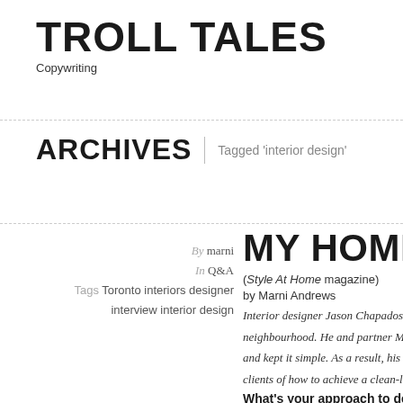TROLL TALES
Copywriting
ARCHIVES | Tagged 'interior design'
By marni
In Q&A
Tags Toronto interiors designer interview interior design
MY HOME IS MY
(Style At Home magazine) by Marni Andrews
Interior designer Jason Chapados lives neighbourhood. He and partner Mirek C and kept it simple. As a result, his home clients of how to achieve a clean-lined,
What's your approach to design?